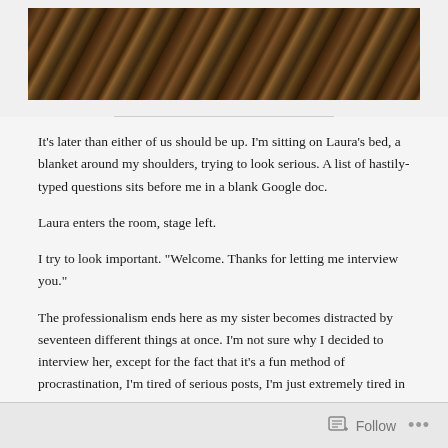[Figure (photo): Dark brownish photo banner showing crumpled or textured fabric/material, serving as a decorative header image]
It’s later than either of us should be up. I’m sitting on Laura’s bed, a blanket around my shoulders, trying to look serious. A list of hastily-typed questions sits before me in a blank Google doc.
Laura enters the room, stage left.
I try to look important. “Welcome. Thanks for letting me interview you.”
The professionalism ends here as my sister becomes distracted by seventeen different things at once. I’m not sure why I decided to interview her, except for the fact that it’s a fun method of procrastination, I’m tired of serious posts, I’m just extremely tired in general, and Laura can be pretty entertaining.
So.
I regain her fleeting attention, and with fingers poised on the keyboard, we begin.
Follow ...